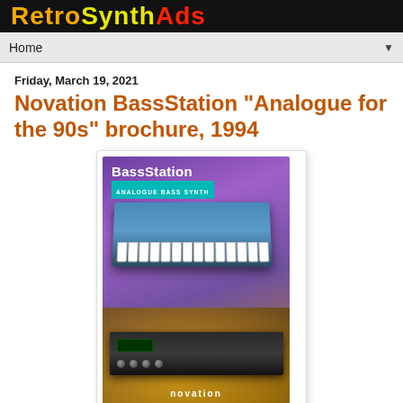RetroSynthAds
Home
Friday, March 19, 2021
Novation BassStation "Analogue for the 90s" brochure, 1994
[Figure (photo): Cover of Novation BassStation 'Analogue Bass Synth' brochure from 1994, showing a keyboard synthesizer and rack unit module against a purple/gold background with novation logo at bottom.]